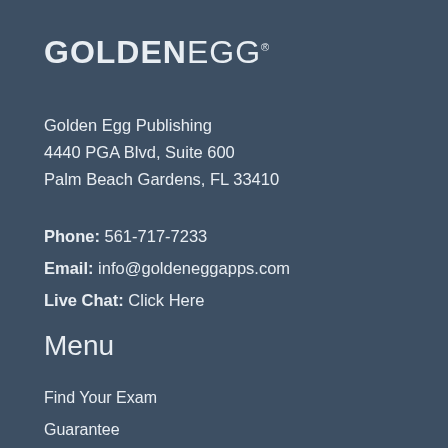[Figure (logo): Golden Egg logo — bold wordmark with 'GOLDEN' in heavy weight and 'EGG' in light weight, followed by a registered/trademark symbol]
Golden Egg Publishing
4440 PGA Blvd, Suite 600
Palm Beach Gardens, FL 33410
Phone: 561-717-7233
Email: info@goldeneggapps.com
Live Chat: Click Here
Menu
Find Your Exam
Guarantee
Contact
Home
Privacy Notice